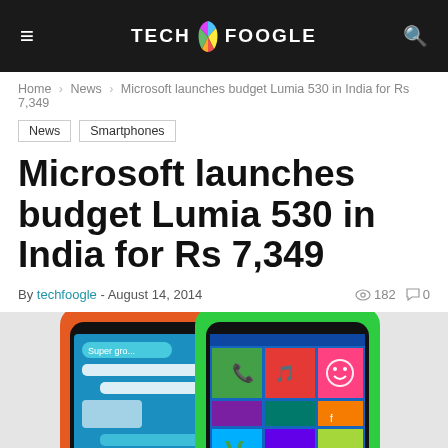Tech Foogle
Home > News > Microsoft launches budget Lumia 530 in India for Rs 7,349
News
Smartphones
Microsoft launches budget Lumia 530 in India for Rs 7,349
By techfoogle - August 14, 2014   182   0
[Figure (photo): Two Nokia Lumia 530 smartphones side by side — one orange and one green — showing Windows Phone tile interface with colorful app tiles and a messaging screen.]